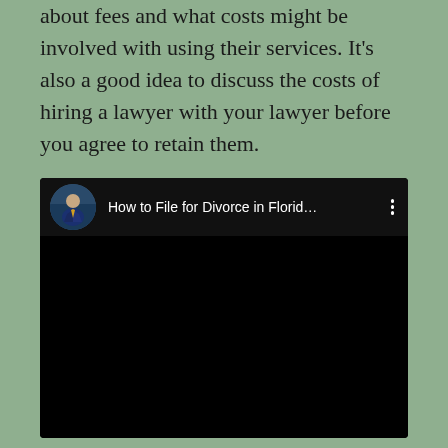about fees and what costs might be involved with using their services. It's also a good idea to discuss the costs of hiring a lawyer with your lawyer before you agree to retain them.
[Figure (screenshot): YouTube video thumbnail showing a video titled 'How to File for Divorce in Florid...' with a circular avatar of a man in a suit on the left. The video player is dark/black with a three-dot menu icon on the right of the header.]